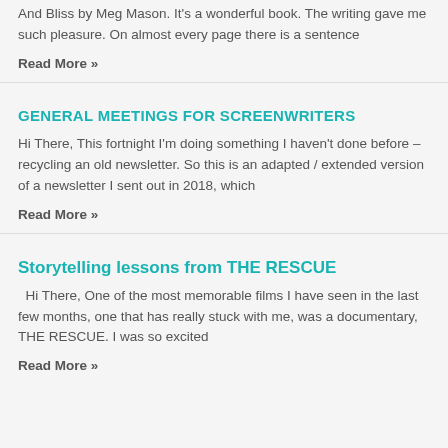And Bliss by Meg Mason. It's a wonderful book. The writing gave me such pleasure. On almost every page there is a sentence
Read More »
GENERAL MEETINGS FOR SCREENWRITERS
Hi There, This fortnight I'm doing something I haven't done before – recycling an old newsletter. So this is an adapted / extended version of a newsletter I sent out in 2018, which
Read More »
Storytelling lessons from THE RESCUE
Hi There, One of the most memorable films I have seen in the last few months, one that has really stuck with me, was a documentary, THE RESCUE. I was so excited
Read More »